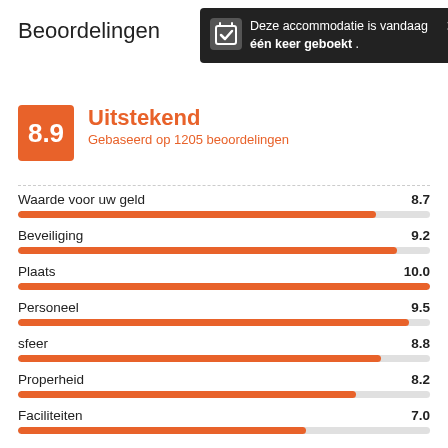Beoordelingen
Deze accommodatie is vandaag één keer geboekt .
8.9 Uitstekend
Gebaseerd op 1205 beoordelingen
[Figure (bar-chart): Ratings breakdown]